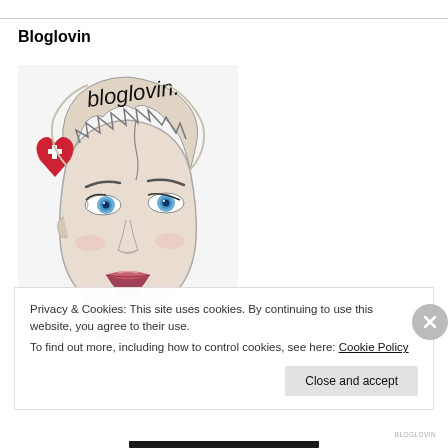Bloglovin
[Figure (illustration): Hand-drawn illustration of a woman's face with blue eyes and red lips, with 'bloglovin.' text at top and a red broken heart icon on the left side.]
Privacy & Cookies: This site uses cookies. By continuing to use this website, you agree to their use.
To find out more, including how to control cookies, see here: Cookie Policy
Close and accept